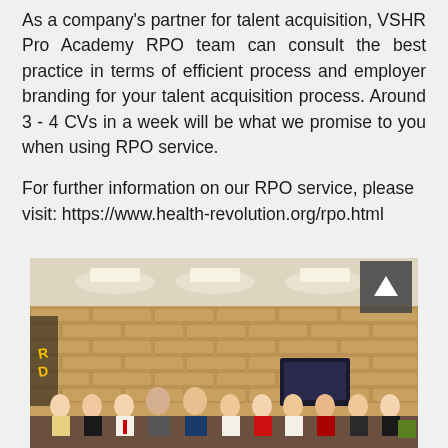As a company's partner for talent acquisition, VSHR Pro Academy RPO team can consult the best practice in terms of efficient process and employer branding for your talent acquisition process. Around 3 - 4 CVs in a week will be what we promise to you when using RPO service.
For further information on our RPO service, please visit: https://www.health-revolution.org/rpo.html
[Figure (photo): Group photo of approximately 11 people standing together in an office/meeting room with exposed brick wall background and ceiling lights. A scroll-to-top arrow button overlay appears in the upper-right corner of the photo.]